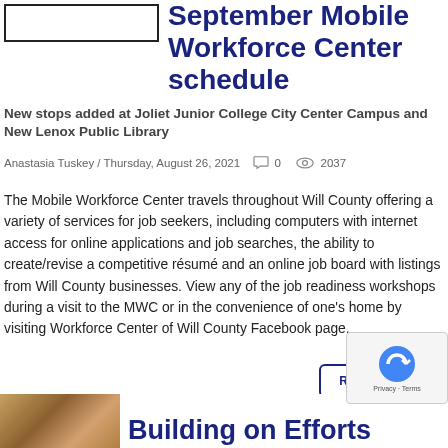[Figure (photo): Placeholder image thumbnail in top-left corner]
September Mobile Workforce Center schedule
New stops added at Joliet Junior College City Center Campus and New Lenox Public Library
Anastasia Tuskey / Thursday, August 26, 2021   0   2037
The Mobile Workforce Center travels throughout Will County offering a variety of services for job seekers, including computers with internet access for online applications and job searches, the ability to create/revise a competitive résumé and an online job board with listings from Will County businesses. View any of the job readiness workshops during a visit to the MWC or in the convenience of one's home by visiting Workforce Center of Will County Facebook page.
READ MORE
[Figure (photo): Partial thumbnail image at bottom left]
Building on Efforts